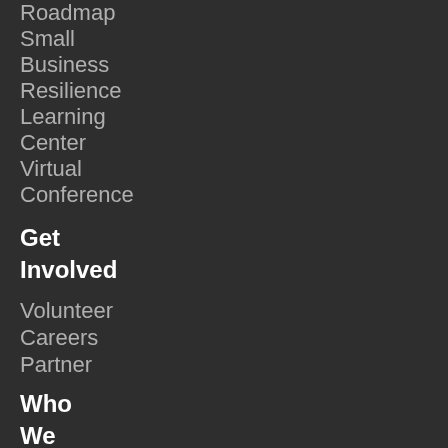Roadmap
Small
Business
Resilience
Learning
Center
Virtual
Conference
Get
Involved
Volunteer
Careers
Partner
Who
We